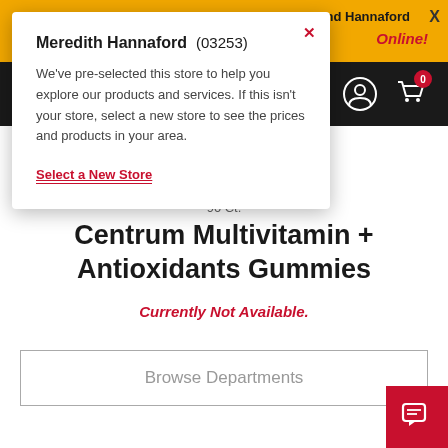l and Hannaford Online!
[Figure (screenshot): Store selection popup modal showing 'Meredith Hannaford (03253)' with pre-selection message and 'Select a New Store' link]
90 Ct.
Centrum Multivitamin + Antioxidants Gummies
Currently Not Available.
Browse Departments